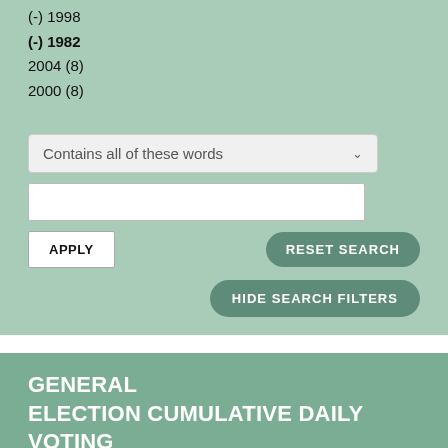(-) 1998
(-) 1982
2004 (8)
2000 (8)
Contains all of these words
GENERAL ELECTION CUMULATIVE DAILY VOTING PERCENTAGE (2008)
TABLE | SHARE | MORE